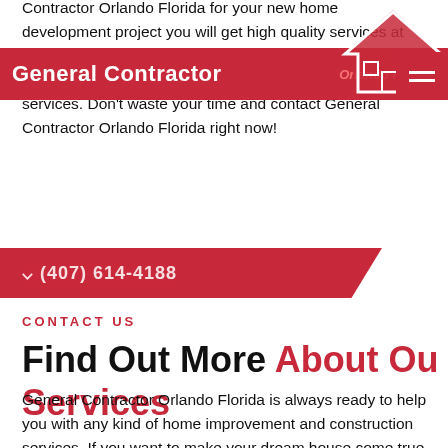Contractor Orlando Florida for your new home development project you will get high quality services at affordable prices. General Contractor Orlando Florida has years of experience in this field, so you can rely on our services. Don't waste your time and contact General Contractor Orlando Florida right now!
[Figure (logo): Red navigation bar with white text 'General Contractor' and red italic text 'Orlando Florida', with a house icon silhouette and hamburger menu icon on the right]
[Figure (infographic): Red angled banner/ribbon with partially visible phone number text]
CONTACT US
Find Out More About Our Services
General Contractor Orlando Florida is always ready to help you with any kind of home improvement and construction services. If you want to make your dream house come true, just contact General Contractor Orlando...